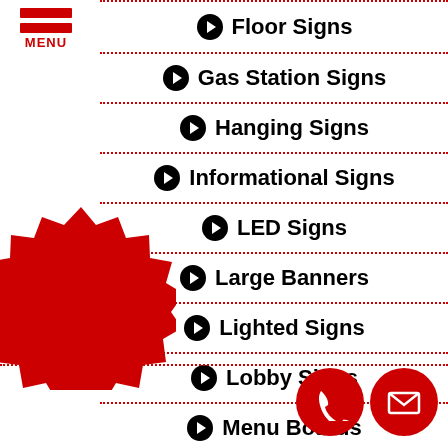[Figure (logo): Red hamburger menu icon with three horizontal red bars and the word MENU in red below]
Floor Signs
Gas Station Signs
Hanging Signs
Informational Signs
LED Signs
Large Banners
Lighted Signs
Lobby Signs
Menu Boards
[Figure (illustration): Red starburst badge with white text reading Financing Available]
[Figure (illustration): Two red circles: phone handset icon and envelope/email icon]